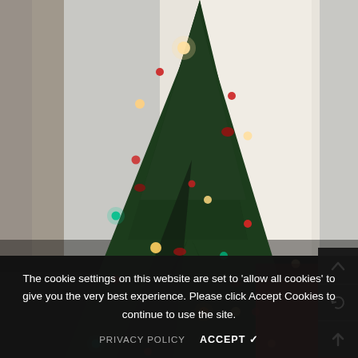[Figure (photo): A decorated Christmas tree with colorful lights (red, green, yellow, orange) against a bright white curtained window background. The tree is photographed indoors.]
The cookie settings on this website are set to 'allow all cookies' to give you the very best experience. Please click Accept Cookies to continue to use the site.
PRIVACY POLICY   ACCEPT ✓